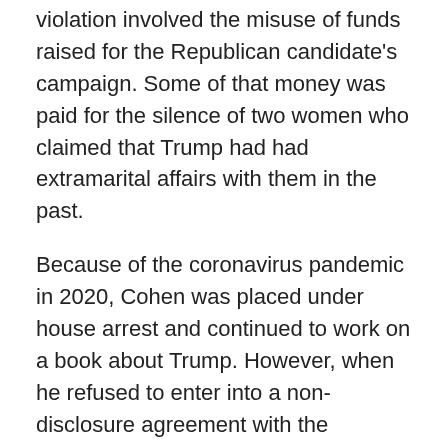violation involved the misuse of funds raised for the Republican candidate's campaign. Some of that money was paid for the silence of two women who claimed that Trump had had extramarital affairs with them in the past.
Because of the coronavirus pandemic in 2020, Cohen was placed under house arrest and continued to work on a book about Trump. However, when he refused to enter into a non-disclosure agreement with the government on certain information related to his work at the White House, he was sent back to prison. Cohen believes this was done under pressure from Trump. He was later returned to house arrest by court order, though, and in November of this year he finished serving his sentence in full. Cohen's book went out of print in September 2020.